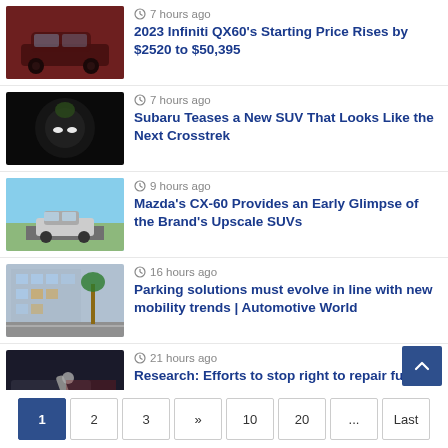7 hours ago — 2023 Infiniti QX60's Starting Price Rises by $2520 to $50,395
7 hours ago — Subaru Teases a New SUV That Looks Like the Next Crosstrek
9 hours ago — Mazda's CX-60 Provides an Early Glimpse of the Brand's Upscale SUVs
16 hours ago — Parking solutions must evolve in line with new mobility trends | Automotive World
21 hours ago — Research: Efforts to stop right to repair futile
1 2 3 » 10 20 ... Last